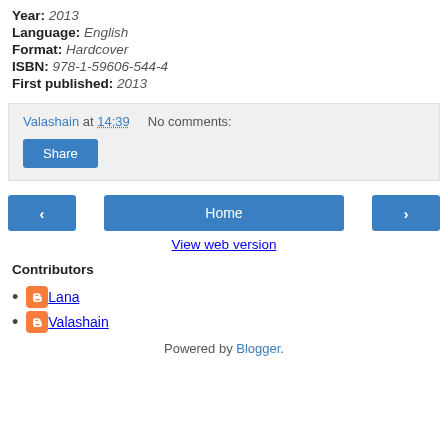Year: 2013
Language: English
Format: Hardcover
ISBN: 978-1-59606-544-4
First published: 2013
Valashain at 14:39   No comments:
Share
Home
View web version
Contributors
Lana
Valashain
Powered by Blogger.